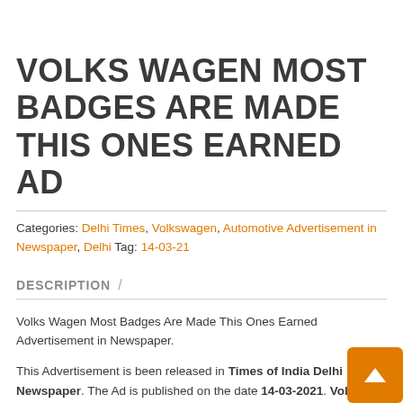VOLKS WAGEN MOST BADGES ARE MADE THIS ONES EARNED AD
Categories: Delhi Times, Volkswagen, Automotive Advertisement in Newspaper, Delhi Tag: 14-03-21
DESCRIPTION /
Volks Wagen Most Badges Are Made This Ones Earned Advertisement in Newspaper.
This Advertisement is been released in Times of India Delhi Newspaper. The Ad is published on the date 14-03-2021. Volks Wagen Most Badges Are Made This Ones Earned Ad is one